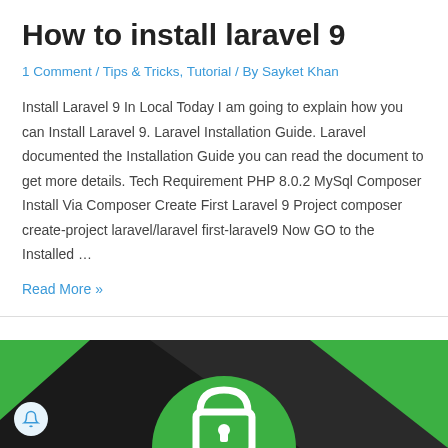How to install laravel 9
1 Comment / Tips & Tricks, Tutorial / By Sayket Khan
Install Laravel 9 In Local Today I am going to explain how you can Install Laravel 9. Laravel Installation Guide. Laravel documented the Installation Guide you can read the document to get more details. Tech Requirement PHP 8.0.2 MySql Composer Install Via Composer Create First Laravel 9 Project composer create-project laravel/laravel first-laravel9 Now GO to the Installed …
Read More »
[Figure (illustration): Green and black themed graphic with a padlock icon in the center on a green circular background, suggesting a security or authentication related article thumbnail.]